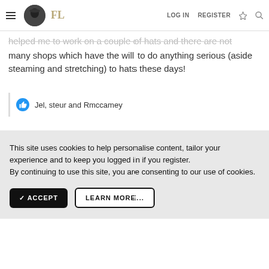FL — LOG IN  REGISTER
helped me to work on a couple of hats and there are not many shops which have the will to do anything serious (aside steaming and stretching) to hats these days!
Jel, steur and Rmccamey
This site uses cookies to help personalise content, tailor your experience and to keep you logged in if you register. By continuing to use this site, you are consenting to our use of cookies.
✓ ACCEPT   LEARN MORE...